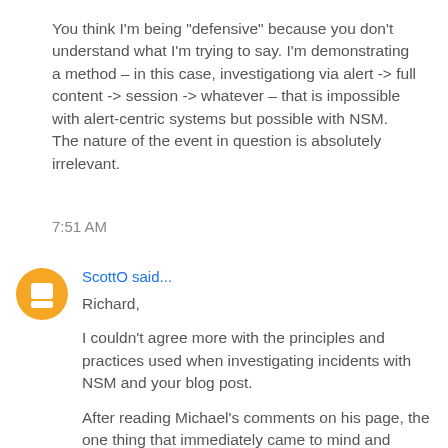You think I'm being "defensive" because you don't understand what I'm trying to say. I'm demonstrating a method – in this case, investigationg via alert -> full content -> session -> whatever – that is impossible with alert-centric systems but possible with NSM. The nature of the event in question is absolutely irrelevant.
7:51 AM
ScottO said...
Richard,

I couldn't agree more with the principles and practices used when investigating incidents with NSM and your blog post.

After reading Michael's comments on his page, the one thing that immediately came to mind and which you also pointed out, is "prevention eventually fails".